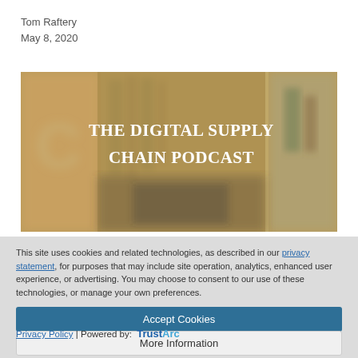Tom Raftery
May 8, 2020
[Figure (illustration): The Digital Supply Chain Podcast cover image — blurred background of shelves/bottles, central panel with white bold text 'The Digital Supply Chain Podcast']
This site uses cookies and related technologies, as described in our privacy statement, for purposes that may include site operation, analytics, enhanced user experience, or advertising. You may choose to consent to our use of these technologies, or manage your own preferences.
Accept Cookies
More Information
Privacy Policy | Powered by: TrustArc